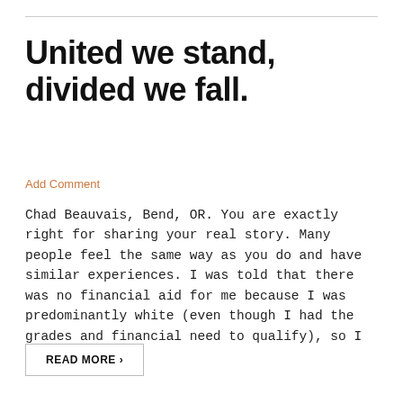United we stand, divided we fall.
Add Comment
Chad Beauvais, Bend, OR. You are exactly right for sharing your real story. Many people feel the same way as you do and have similar experiences. I was told that there was no financial aid for me because I was predominantly white (even though I had the grades and financial need to qualify), so I [...]
READ MORE >